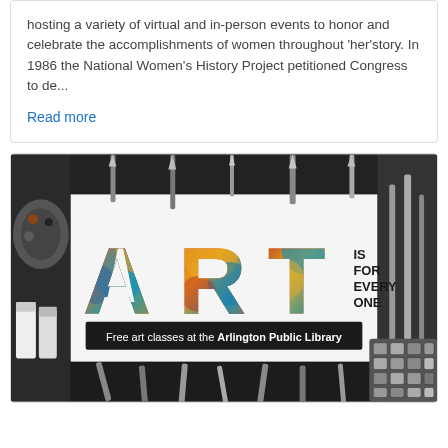hosting a variety of virtual and in-person events to honor and celebrate the accomplishments of women throughout 'her'story. In 1986 the National Women's History Project petitioned Congress to de...
Read more
[Figure (illustration): Promotional image for free art classes at the Arlington Public Library. Large colorful 'ART' text with painted texture fills the center, surrounded by art supplies (brushes, paint tubes, palette) in black and white. Text reads 'IS FOR EVERY ONE' and 'Free art classes at the Arlington Public Library'.]